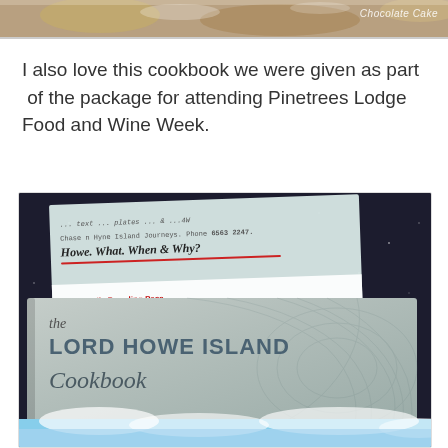[Figure (photo): Top portion of a food/dessert photo with text overlay suggesting chocolate cake, partially cropped at top of page]
I also love this cookbook we were given as part  of the package for attending Pinetrees Lodge Food and Wine Week.
[Figure (photo): Photo of 'the Lord Howe Island Cookbook' by Dani Rourke & Luke Hanson, a gray hardcover book with swirling palm-leaf pattern, shown on a dark speckled surface alongside travel documents including a boarding pass and a brochure titled 'Howe. What. When & Why?' from Lord Howe Island Journeys, and a Virgin Australia boarding pass]